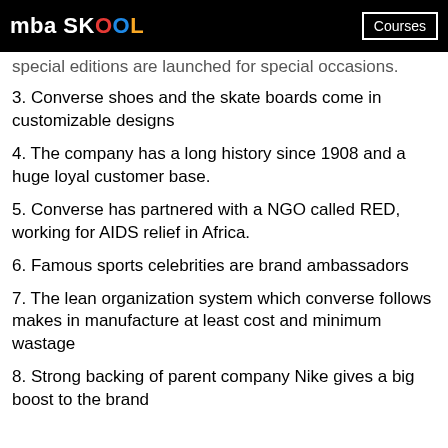mba SKOOL | Courses
special editions are launched for special occasions.
3. Converse shoes and the skate boards come in customizable designs
4. The company has a long history since 1908 and a huge loyal customer base.
5. Converse has partnered with a NGO called RED, working for AIDS relief in Africa.
6. Famous sports celebrities are brand ambassadors
7. The lean organization system which converse follows makes in manufacture at least cost and minimum wastage
8. Strong backing of parent company Nike gives a big boost to the brand